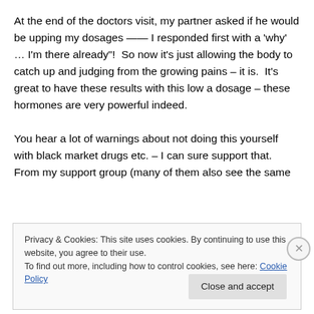At the end of the doctors visit, my partner asked if he would be upping my dosages —— I responded first with a 'why' … I'm there already"!  So now it's just allowing the body to catch up and judging from the growing pains – it is.  It's great to have these results with this low a dosage – these hormones are very powerful indeed.

You hear a lot of warnings about not doing this yourself with black market drugs etc. – I can sure support that.  From my support group (many of them also see the same
Privacy & Cookies: This site uses cookies. By continuing to use this website, you agree to their use.
To find out more, including how to control cookies, see here: Cookie Policy